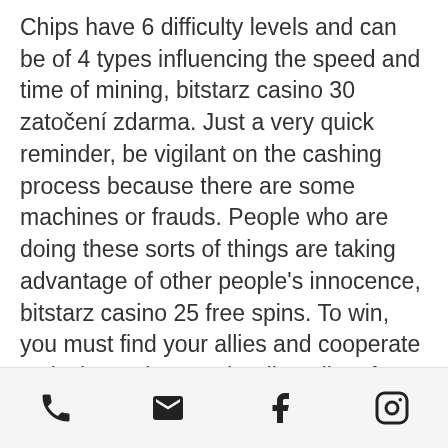Chips have 6 difficulty levels and can be of 4 types influencing the speed and time of mining, bitstarz casino 30 zatočení zdarma. Just a very quick reminder, be vigilant on the cashing process because there are some machines or frauds. People who are doing these sorts of things are taking advantage of other people's innocence, bitstarz casino 25 free spins. To win, you must find your allies and cooperate actively to wipe out the dirty elite of Unity, bitstarz casino 30 бесплатные вращения. If the cyberpunk world is not for you, perhaps you would like 0xUniverse ' a strategy game based on Ethereum that will take you on a cosmic ride. However, the fact that many crypto-related investment frauds and illegal cash-outs still happen, the use of encryption controls, of blacklisting addresses and of capping cash-out transaction, have
[Figure (other): Footer icon bar with four icons: phone, email/envelope, Facebook, Instagram]